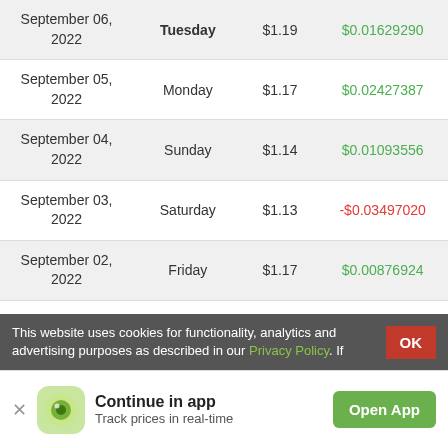| Date | Day | Price | Change |
| --- | --- | --- | --- |
| September 06, 2022 | Tuesday | $1.19 | $0.01629290 |
| September 05, 2022 | Monday | $1.17 | $0.02427387 |
| September 04, 2022 | Sunday | $1.14 | $0.01093556 |
| September 03, 2022 | Saturday | $1.13 | -$0.03497020 |
| September 02, 2022 | Friday | $1.17 | $0.00876924 |
| September 01, 2022 | Thursday | $1.16 | $0.01003375 |
This website uses cookies for functionality, analytics and advertising purposes as described in our Privacy Policy. If
Continue in app
Track prices in real-time